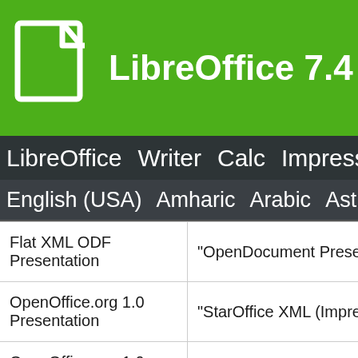LibreOffice 7.4 Help
LibreOffice  Writer  Calc  Impress  Draw
English (USA)  Amharic  Arabic  Asturi
|  |  |
| --- | --- |
| Flat XML ODF Presentation | "OpenDocument Presentation |
| OpenOffice.org 1.0 Presentation | "StarOffice XML (Impress)" |
| OpenOffice.org 1.0 Presentation Template | "impress_StarOffice_XML_Imp |
| PDF - Portable Document Format | "impress_pdf_Export" |
| PDF Presentation | "impress_p |